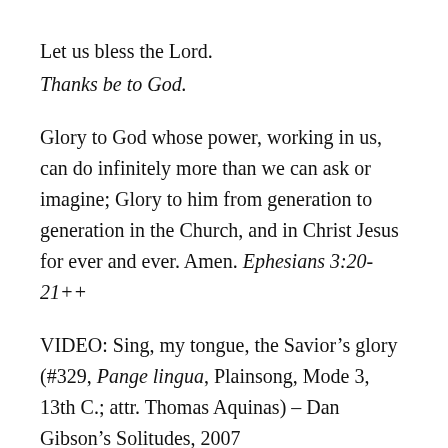Let us bless the Lord.
Thanks be to God.
Glory to God whose power, working in us, can do infinitely more than we can ask or imagine; Glory to him from generation to generation in the Church, and in Christ Jesus for ever and ever. Amen. Ephesians 3:20-21++
VIDEO: Sing, my tongue, the Savior’s glory (#329, Pange lingua, Plainsong, Mode 3, 13th C.; attr. Thomas Aquinas) – Dan Gibson’s Solitudes, 2007